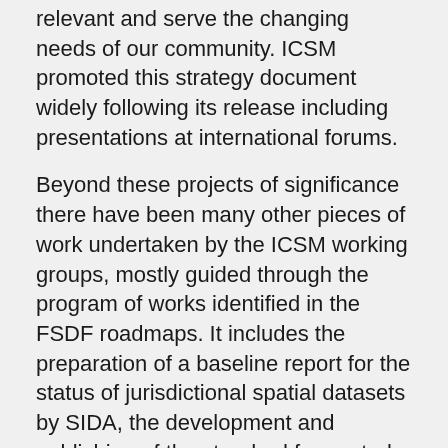relevant and serve the changing needs of our community. ICSM promoted this strategy document widely following its release including presentations at international forums.
Beyond these projects of significance there have been many other pieces of work undertaken by the ICSM working groups, mostly guided through the program of works identified in the FSDF roadmaps. It includes the preparation of a baseline report for the status of jurisdictional spatial datasets by SIDA, the development and publishing of the standard for control networks, SP1, the consolidation of the State Borders dataset, support for the implementation of ePlan into our cadastral systems, updating the Australian Tides Manual SP9, determining the linkage between tidal reference levels and AHD , the development of consistent feature type classification, the compilation of a framework...